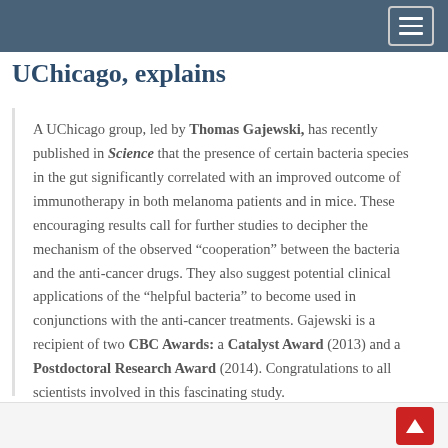UChicago, explains
A UChicago group, led by Thomas Gajewski, has recently published in Science that the presence of certain bacteria species in the gut significantly correlated with an improved outcome of immunotherapy in both melanoma patients and in mice. These encouraging results call for further studies to decipher the mechanism of the observed “cooperation” between the bacteria and the anti-cancer drugs. They also suggest potential clinical applications of the “helpful bacteria” to become used in conjunctions with the anti-cancer treatments. Gajewski is a recipient of two CBC Awards: a Catalyst Award (2013) and a Postdoctoral Research Award (2014). Congratulations to all scientists involved in this fascinating study.